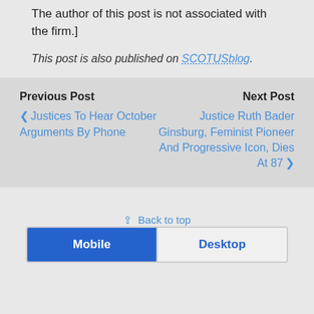The author of this post is not associated with the firm.]
This post is also published on SCOTUSblog.
Previous Post
‹ Justices To Hear October Arguments By Phone
Next Post
Justice Ruth Bader Ginsburg, Feminist Pioneer And Progressive Icon, Dies At 87 ›
↑ Back to top
Mobile | Desktop